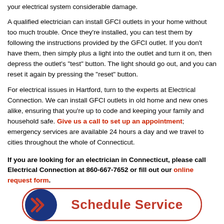your electrical system considerable damage.
A qualified electrician can install GFCI outlets in your home without too much trouble. Once they're installed, you can test them by following the instructions provided by the GFCI outlet. If you don't have them, then simply plus a light into the outlet and turn it on, then depress the outlet's "test" button. The light should go out, and you can reset it again by pressing the "reset" button.
For electrical issues in Hartford, turn to the experts at Electrical Connection. We can install GFCI outlets in old home and new ones alike, ensuring that you're up to code and keeping your family and household safe. Give us a call to set up an appointment; emergency services are available 24 hours a day and we travel to cities throughout the whole of Connecticut.
If you are looking for an electrician in Connecticut, please call Electrical Connection at 860-667-7652 or fill out our online request form.
[Figure (illustration): Schedule Service button with blue circular icon containing a red arrow/chevron logo on the left, and red bold text reading 'Schedule Service' on a white rounded rectangle with red border.]